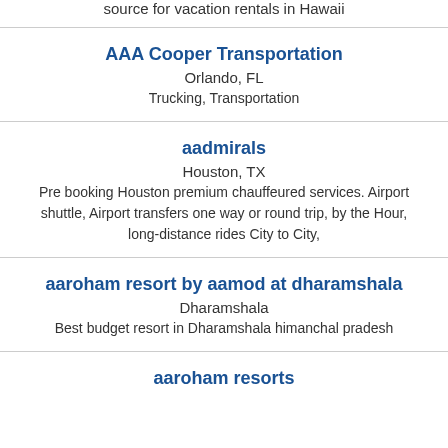source for vacation rentals in Hawaii
AAA Cooper Transportation
Orlando, FL
Trucking, Transportation
aadmirals
Houston, TX
Pre booking Houston premium chauffeured services. Airport shuttle, Airport transfers one way or round trip, by the Hour, long-distance rides City to City,
aaroham resort by aamod at dharamshala
Dharamshala
Best budget resort in Dharamshala himanchal pradesh
aaroham resorts